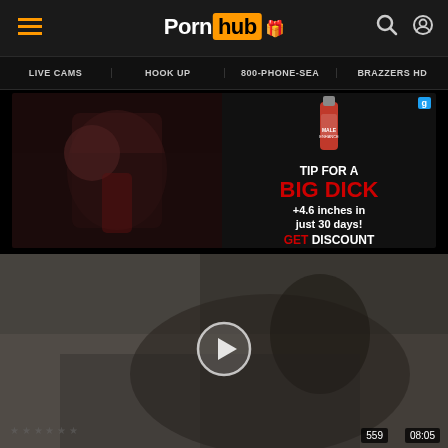Pornhub — site header with hamburger menu, logo, search and account icons
LIVE CAMS | HOOK UP | 800-PHONE-SEA | BRAZZERS HD
[Figure (screenshot): Advertisement banner: left side shows adult video still image; right side shows supplement bottle (Alpha Male XL Male Enhancement) with text 'TIP FOR A BIG DICK +4.6 inches in just 30 days! GET DISCOUNT']
[Figure (screenshot): Adult video thumbnail showing a tattooed woman on a couch in lingerie with a play button overlay. Duration badge shows 559 views and 08:05 runtime.]